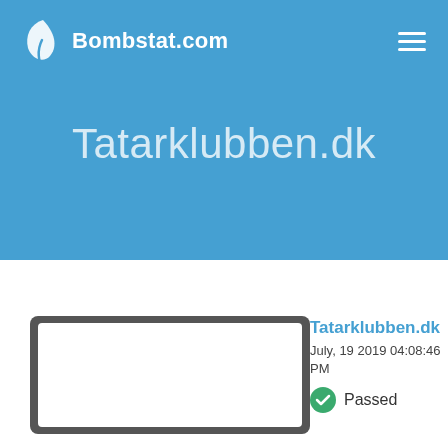Bombstat.com
Tatarklubben.dk
[Figure (screenshot): Laptop/monitor outline illustration showing a blank white screen, partially cut off at bottom of page.]
Tatarklubben.dk
July, 19 2019 04:08:46 PM
✓ Passed